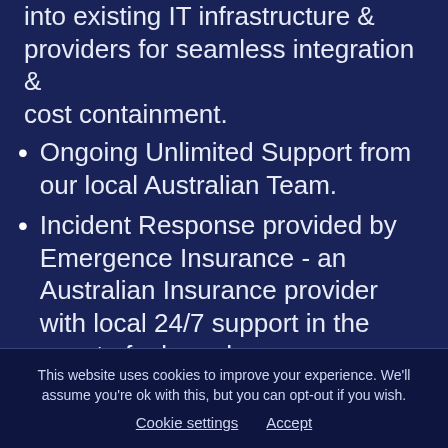into existing IT infrastructure & providers for seamless integration & cost containment.
Ongoing Unlimited Support from our local Australian Team.
Incident Response provided by Emergence Insurance - an Australian Insurance provider with local 24/7 support in the event of a breach or ransomware attack.
This website uses cookies to improve your experience. We'll assume you're ok with this, but you can opt-out if you wish. Cookie settings  Accept